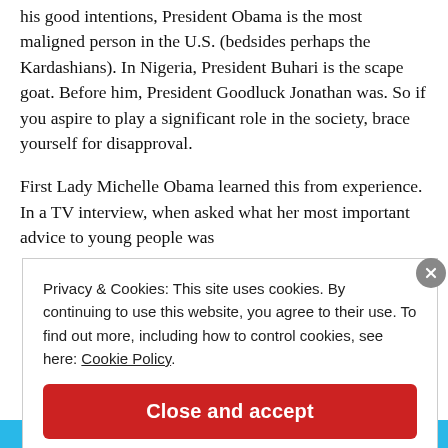his good intentions, President Obama is the most maligned person in the U.S. (bedsides perhaps the Kardashians). In Nigeria, President Buhari is the scape goat. Before him, President Goodluck Jonathan was. So if you aspire to play a significant role in the society, brace yourself for disapproval.
First Lady Michelle Obama learned this from experience. In a TV interview, when asked what her most important advice to young people was...
Privacy & Cookies: This site uses cookies. By continuing to use this website, you agree to their use. To find out more, including how to control cookies, see here: Cookie Policy
Close and accept